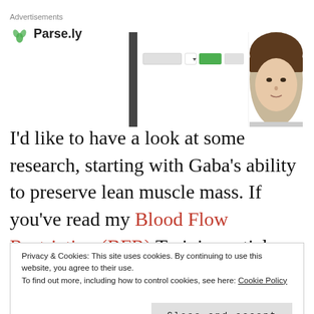[Figure (screenshot): Parse.ly advertisement banner with logo and screenshot of a web interface with a person's face visible on the right side]
I'd like to have a look at some research, starting with Gaba's ability to preserve lean muscle mass. If you've read my Blood Flow Restriction (BFR) Training article, you may have picked up that I have a thing for growth hormone. I
Privacy & Cookies: This site uses cookies. By continuing to use this website, you agree to their use.
To find out more, including how to control cookies, see here: Cookie Policy
Close and accept